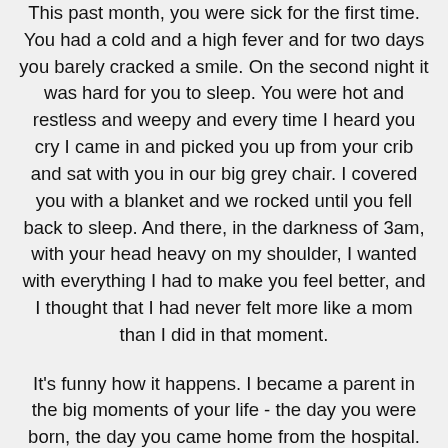This past month, you were sick for the first time. You had a cold and a high fever and for two days you barely cracked a smile. On the second night it was hard for you to sleep. You were hot and restless and weepy and every time I heard you cry I came in and picked you up from your crib and sat with you in our big grey chair. I covered you with a blanket and we rocked until you fell back to sleep. And there, in the darkness of 3am, with your head heavy on my shoulder, I wanted with everything I had to make you feel better, and I thought that I had never felt more like a mom than I did in that moment.
It's funny how it happens. I became a parent in the big moments of your life - the day you were born, the day you came home from the hospital. But it's in the quiet moments - feeding you in the middle of the night when you were a new baby, packing your little backpack every night for daycare, walking with you in your stroller down a sunny, summer street, rocking you to sleep  - that I became a mom.
I want what's best for you with a fierceness that I sometimes don't recognize. I want you to be healthy and happy and to